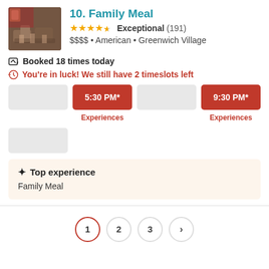[Figure (photo): Restaurant interior photo showing table settings and chairs]
10. Family Meal
★★★★½ Exceptional (191)
$$$$ • American • Greenwich Village
Booked 18 times today
You're in luck! We still have 2 timeslots left
5:30 PM*
Experiences
9:30 PM*
Experiences
✦ Top experience
Family Meal
1  2  3  ›